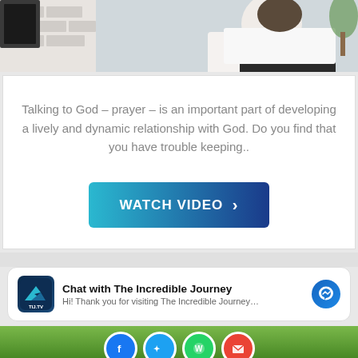[Figure (photo): Person in white shirt sitting, viewed from behind, with brick wall background and plant]
Talking to God – prayer – is an important part of developing a lively and dynamic relationship with God. Do you find that you have trouble keeping..
[Figure (other): WATCH VIDEO button with right arrow, blue gradient background]
[Figure (other): Chat widget: Chat with The Incredible Journey - Hi! Thank you for visiting The Incredible Journey... with Messenger icon and TIJ.TV logo]
[Figure (other): Social media icons row: Facebook, Twitter, WhatsApp, Email on green nature background]